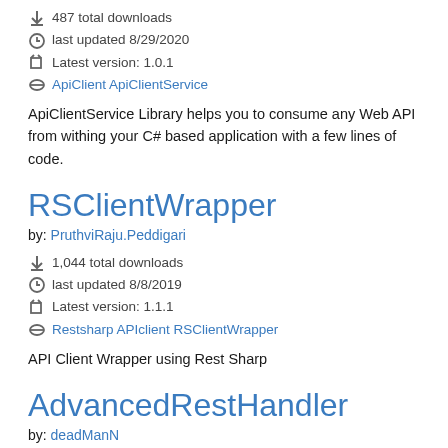487 total downloads
last updated 8/29/2020
Latest version: 1.0.1
ApiClient ApiClientService
ApiClientService Library helps you to consume any Web API from withing your C# based application with a few lines of code.
RSClientWrapper
by: PruthviRaju.Peddigari
1,044 total downloads
last updated 8/8/2019
Latest version: 1.1.1
Restsharp APIclient RSClientWrapper
API Client Wrapper using Rest Sharp
AdvancedRestHandler
by: deadManN